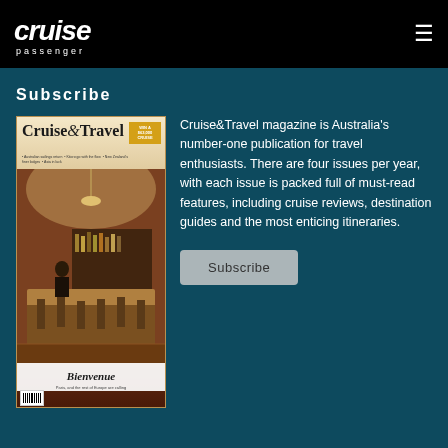cruise passenger
Subscribe
[Figure (illustration): Magazine cover of Cruise & Travel magazine showing interior of an elegant bar/restaurant with the title 'Bienvenue' and subtitle 'Paris, and the rest of Europe are calling']
Cruise&Travel magazine is Australia's number-one publication for travel enthusiasts. There are four issues per year, with each issue is packed full of must-read features, including cruise reviews, destination guides and the most enticing itineraries.
Subscribe